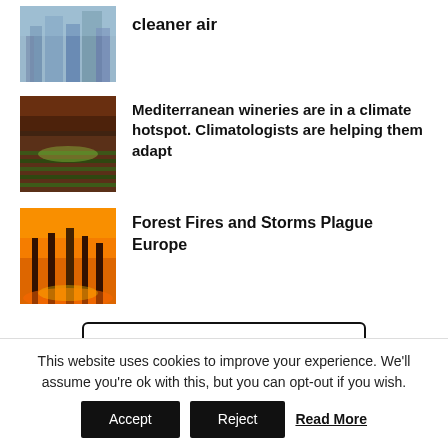[Figure (photo): City skyline with smoggy/hazy atmosphere]
cleaner air
[Figure (photo): Mediterranean vineyard rows at dusk with dramatic sky]
Mediterranean wineries are in a climate hotspot. Climatologists are helping them adapt
[Figure (photo): Forest fire with burning trees against orange sky]
Forest Fires and Storms Plague Europe
COMMENTS
ALSO ON MODERN DIPLOMACY
This website uses cookies to improve your experience. We'll assume you're ok with this, but you can opt-out if you wish.